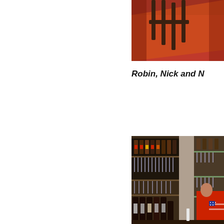[Figure (photo): Top photo showing interior with orange/red walls and dark wooden staircase railing, partially cropped at right side of page]
Robin, Nick and [name cut off]
[Figure (photo): Photo of a bar interior with shelves of wine bottles and glassware, and a person in a red American flag t-shirt standing behind the bar counter]